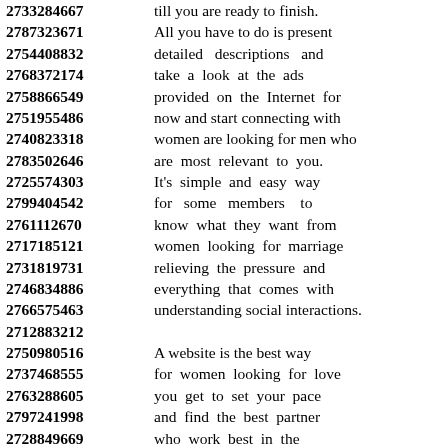2733284667 till you are ready to finish. 2787323671 All you have to do is present 2754408832 detailed descriptions and 2768372174 take a look at the ads 2758866549 provided on the Internet for 2751955486 now and start connecting with 2740823318 women are looking for men who 2783502646 are most relevant to you. 2725574303 It's simple and easy way 2799404542 for some members to 2761112670 know what they want from 2717185121 women looking for marriage 2731819731 relieving the pressure and 2746834886 everything that comes with 2766575463 understanding social interactions. 2712883212 2750980516 A website is the best way 2737468555 for women looking for love 2763288605 you get to set your pace 2797241998 and find the best partner 2728849669 who work best in the 2785162811 meeting place online. 2711850399 Singles looking for love 2773283410 have different needs and different 2771784641 requirement such as the 2799015672 specific relationship and